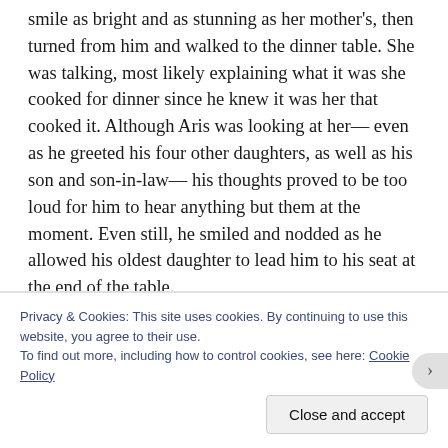smile as bright and as stunning as her mother's, then turned from him and walked to the dinner table. She was talking, most likely explaining what it was she cooked for dinner since he knew it was her that cooked it. Although Aris was looking at her— even as he greeted his four other daughters, as well as his son and son-in-law— his thoughts proved to be too loud for him to hear anything but them at the moment. Even still, he smiled and nodded as he allowed his oldest daughter to lead him to his seat at the end of the table.
Once seated, he gazed to his right, knowing that he'd lay eyes on his beautiful wife the moment he did. Ever since the moment he and Laila fell in love, he'd never been able to hide
Privacy & Cookies: This site uses cookies. By continuing to use this website, you agree to their use.
To find out more, including how to control cookies, see here: Cookie Policy